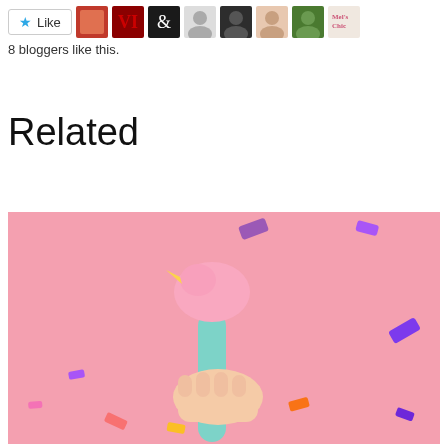[Figure (other): Like button with star icon followed by 8 blogger avatar thumbnails]
8 bloggers like this.
Related
[Figure (photo): A hand holding a pink and teal bird-shaped object/toy against a pink background with colorful confetti pieces scattered around]